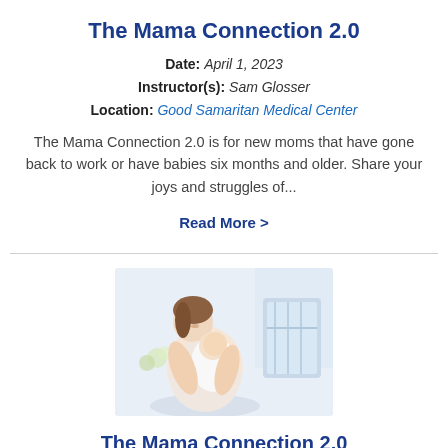The Mama Connection 2.0
Date: April 1, 2023
Instructor(s): Sam Glosser
Location: Good Samaritan Medical Center
The Mama Connection 2.0 is for new moms that have gone back to work or have babies six months and older. Share your joys and struggles of...
Read More >
[Figure (photo): A woman holding and looking down at a newborn baby wrapped in white cloth, seated in a light-colored room with a crib in the background.]
The Mama Connection 2.0